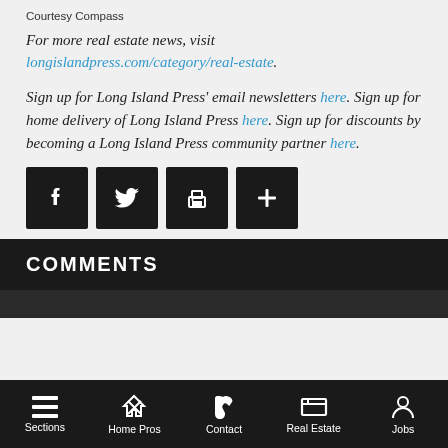Courtesy Compass
For more real estate news, visit longislandpress.com/category/real-estate.
Sign up for Long Island Press' email newsletters here. Sign up for home delivery of Long Island Press here. Sign up for discounts by becoming a Long Island Press community partner here.
[Figure (other): Social share icons: Facebook, Twitter, Print, More]
COMMENTS
Sections | Home Pros | Contact | Real Estate | Jobs